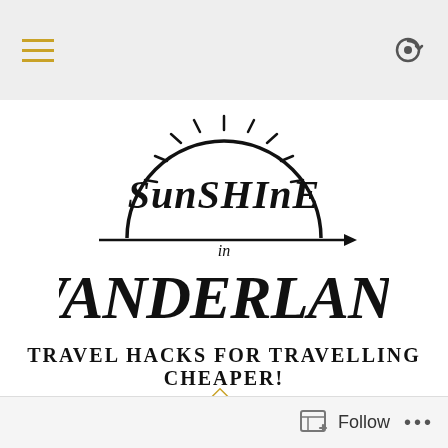[Figure (logo): Sunshine in Wanderland blog logo — hand-drawn lettering with sun rays and arrow]
TRAVEL HACKS FOR TRAVELLING CHEAPER!
Follow